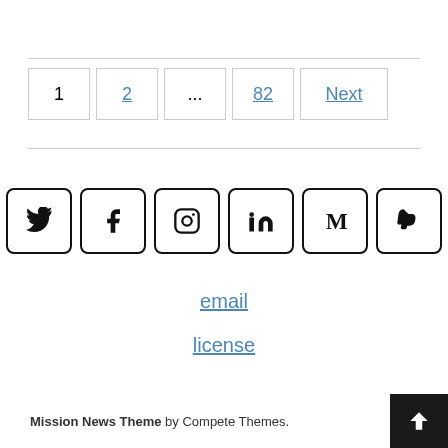1  2  ...  82  Next
[Figure (infographic): Social media icons row: Twitter, Facebook, Instagram, LinkedIn, Medium, PayPal — each in a rounded square border]
email
license
Mission News Theme by Compete Themes.